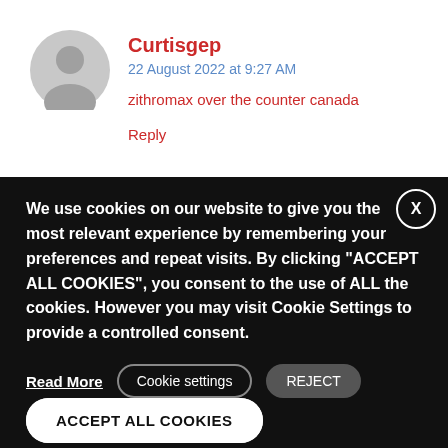[Figure (illustration): Gray circular user avatar icon]
Curtisgep
22 August 2022 at 9:27 AM
zithromax over the counter canada
Reply
We use cookies on our website to give you the most relevant experience by remembering your preferences and repeat visits. By clicking "ACCEPT ALL COOKIES", you consent to the use of ALL the cookies. However you may visit Cookie Settings to provide a controlled consent.
Read More
Cookie settings
REJECT
ACCEPT ALL COOKIES